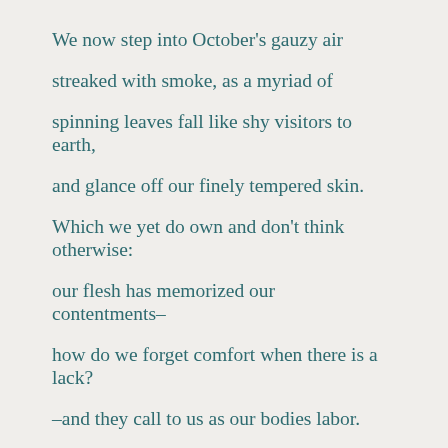We now step into October's gauzy air

streaked with smoke, as a myriad of

spinning leaves fall like shy visitors to earth,

and glance off our finely tempered skin.

Which we yet do own and don't think otherwise:

our flesh has memorized our contentments–

how do we forget comfort when there is a lack?

–and they call to us as our bodies labor.

Still, we likely dance or tread as solitary over